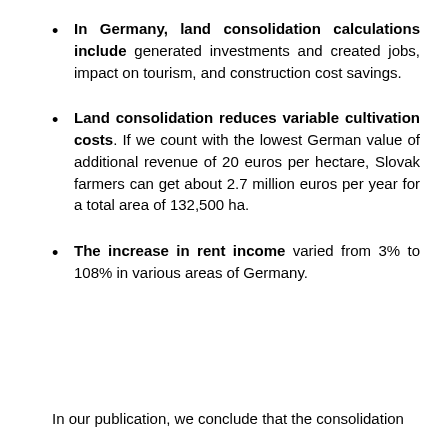In Germany, land consolidation calculations include generated investments and created jobs, impact on tourism, and construction cost savings.
Land consolidation reduces variable cultivation costs. If we count with the lowest German value of additional revenue of 20 euros per hectare, Slovak farmers can get about 2.7 million euros per year for a total area of 132,500 ha.
The increase in rent income varied from 3% to 108% in various areas of Germany.
In our publication, we conclude that the consolidation